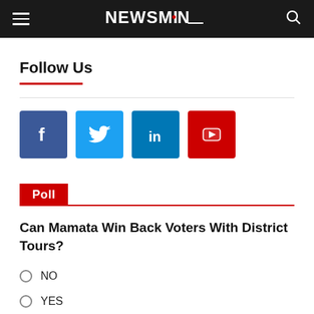NEWSMiN navigation bar
Follow Us
[Figure (infographic): Four social media icons: Facebook (dark blue), Twitter (light blue), LinkedIn (medium blue), YouTube (red)]
Poll
Can Mamata Win Back Voters With District Tours?
NO
YES